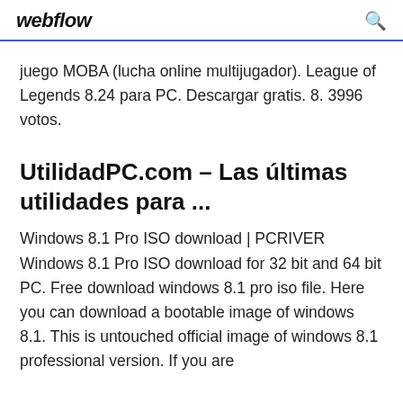webflow
juego MOBA (lucha online multijugador). League of Legends 8.24 para PC. Descargar gratis. 8. 3996 votos.
UtilidadPC.com – Las últimas utilidades para ...
Windows 8.1 Pro ISO download | PCRIVER Windows 8.1 Pro ISO download for 32 bit and 64 bit PC. Free download windows 8.1 pro iso file. Here you can download a bootable image of windows 8.1. This is untouched official image of windows 8.1 professional version. If you are